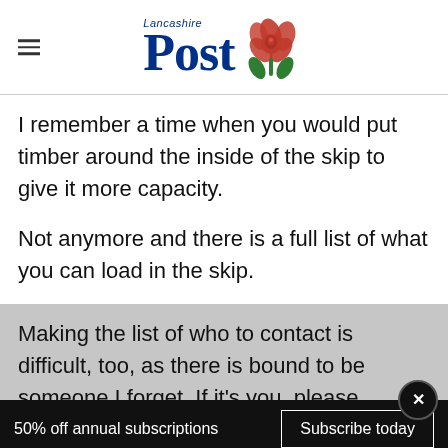Lancashire Post
I remember a time when you would put timber around the inside of the skip to give it more capacity.
Not anymore and there is a full list of what you can load in the skip.
Making the list of who to contact is difficult, too, as there is bound to be someone I forget. If it's you, please forgive me.
50% off annual subscriptions   Subscribe today